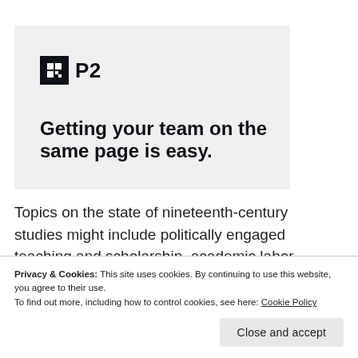Advertisements
[Figure (illustration): Advertisement banner for P2 product. Shows the P2 logo (black square icon with white grid and 'P2' text) and tagline 'Getting your team on the same page is easy.']
Topics on the state of nineteenth-century studies might include politically engaged teaching and scholarship, academic labor practices, harassment or
Privacy & Cookies: This site uses cookies. By continuing to use this website, you agree to their use.
To find out more, including how to control cookies, see here: Cookie Policy
Close and accept